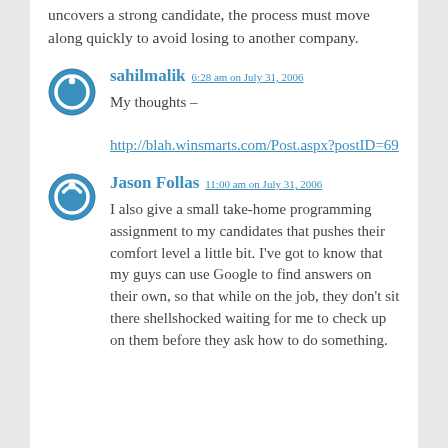uncovers a strong candidate, the process must move along quickly to avoid losing to another company.
sahilmalik 6:28 am on July 31, 2006
My thoughts –
http://blah.winsmarts.com/Post.aspx?postID=69
Jason Follas 11:00 am on July 31, 2006
I also give a small take-home programming assignment to my candidates that pushes their comfort level a little bit. I've got to know that my guys can use Google to find answers on their own, so that while on the job, they don't sit there shellshocked waiting for me to check up on them before they ask how to do something.